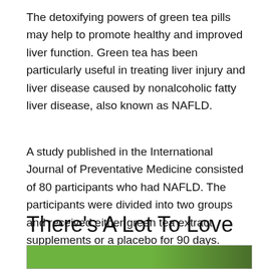The detoxifying powers of green tea pills may help to promote healthy and improved liver function. Green tea has been particularly useful in treating liver injury and liver disease caused by nonalcoholic fatty liver disease, also known as NAFLD.
A study published in the International Journal of Preventative Medicine consisted of 80 participants who had NAFLD. The participants were divided into two groups and received either green tea extract supplements or a placebo for 90 days. Participants that took the green tea extract had significantly lower levels of liver enzymes, which is an indicator of better liver health .
There's A Lot To Love
[Figure (photo): Partial view of a green tea related image, showing green colors consistent with tea leaves or green tea product.]